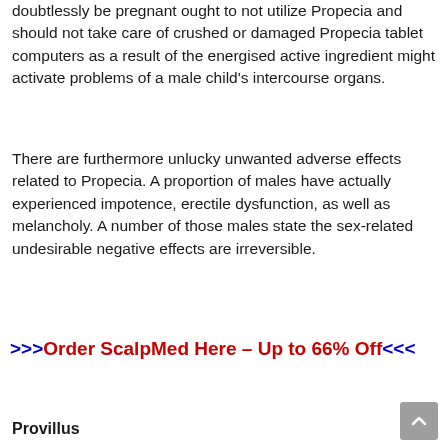doubtlessly be pregnant ought to not utilize Propecia and should not take care of crushed or damaged Propecia tablet computers as a result of the energised active ingredient might activate problems of a male child's intercourse organs.
There are furthermore unlucky unwanted adverse effects related to Propecia. A proportion of males have actually experienced impotence, erectile dysfunction, as well as melancholy. A number of those males state the sex-related undesirable negative effects are irreversible.
>>>Order ScalpMed Here – Up to 66% Off<<<
Provillus